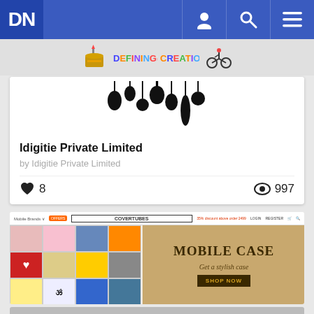[Figure (screenshot): DN navigation bar with logo, user icon, search icon, and hamburger menu on blue background]
[Figure (illustration): Banner strip showing a cake icon, 'DEFINING CREATION' colorful text logo, and a bicycle/cyclist icon on grey background]
[Figure (illustration): Product card image showing hanging lamp/bulb silhouettes in black on white background]
Idigitie Private Limited
by Idigitie Private Limited
♥ 8    👁 997
[Figure (screenshot): CoverTubes mobile case advertisement banner showing colorful phone cases and text 'MOBILE CASE - Get a stylish case - SHOP NOW']
[Figure (screenshot): Partial view of bottom product thumbnails partially cut off]